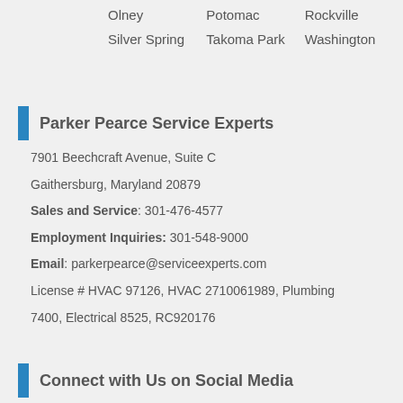Olney
Potomac
Rockville
Silver Spring
Takoma Park
Washington
Parker Pearce Service Experts
7901 Beechcraft Avenue, Suite C
Gaithersburg, Maryland 20879
Sales and Service: 301-476-4577
Employment Inquiries: 301-548-9000
Email: parkerpearce@serviceexperts.com
License # HVAC 97126, HVAC 2710061989, Plumbing 7400, Electrical 8525, RC920176
Connect with Us on Social Media